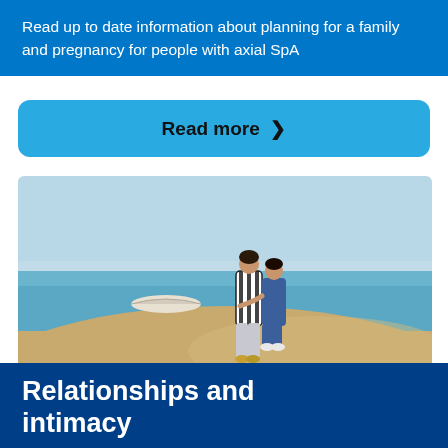Read up to date information about planning for a family and pregnancy for people with axial SpA
Read more >
[Figure (photo): Two people standing on a sandy beach looking out at the sea, with a small boat in the water. One person has their arm around the other.]
Relationships and intimacy